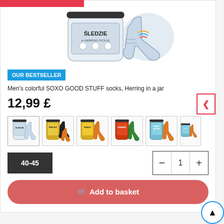[Figure (photo): Product photo of socks in a jar labeled SLEDZIE with a sock displayed next to it, partially cropped at top]
OUR BESTSELLER
Men's colorful SOXO GOOD STUFF socks, Herring in a jar
12,99 £
[Figure (photo): Row of product thumbnail images showing different sock and jar combinations: SLEDZIE (herring), pine nuts with dark/orange socks, peanut with orange socks, chili/red pepper with green socks, PEANUT BUTTER with orange socks, HAZEL (partially cut off) with orange socks]
40-45
1
Add to basket